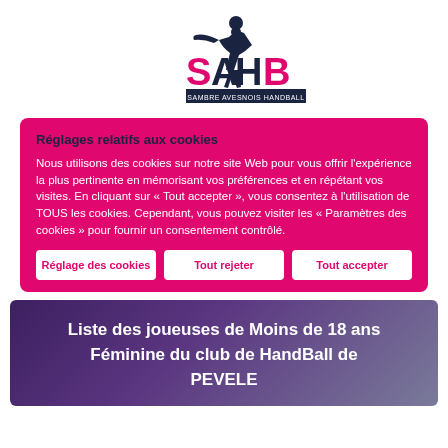[Figure (logo): SAHB - Sambre Avesnois Handball logo with handball player silhouette and pink/dark navy lettering]
Réglages relatifs aux cookies
Nous utilisons des cookies sur notre site Web pour vous offrir l'expérience la plus pertinente en mémorisant vos préférences et en répétant vos visites. En cliquant sur « Tout accepter », vous consentez à l'utilisation de TOUS les cookies. Cependant, vous pouvez visiter les « Paramètres des cookies » pour fournir un consentement contrôlé.
Réglage des cookies | Tout rejeter | Tout accepter
Liste des joueuses de Moins de 18 ans Féminine du club de HandBall de PEVELE